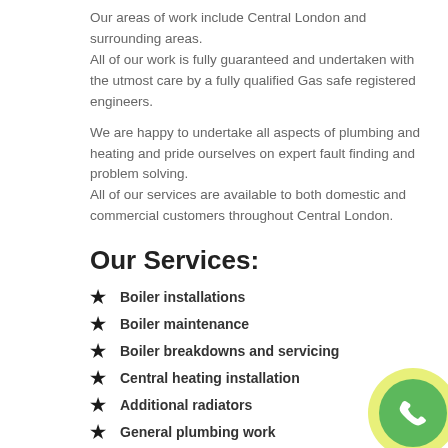Our areas of work include Central London and surrounding areas.
All of our work is fully guaranteed and undertaken with the utmost care by a fully qualified Gas safe registered engineers.
We are happy to undertake all aspects of plumbing and heating and pride ourselves on expert fault finding and problem solving.
All of our services are available to both domestic and commercial customers throughout Central London.
Our Services:
Boiler installations
Boiler maintenance
Boiler breakdowns and servicing
Central heating installation
Additional radiators
General plumbing work
[Figure (illustration): Green phone button with yellow outer ring in bottom-right corner]